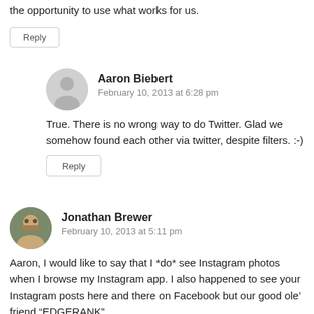the opportunity to use what works for us.
Reply
Aaron Biebert
February 10, 2013 at 6:28 pm
True.  There is no wrong way to do Twitter.  Glad we somehow found each other via twitter, despite filters.  :-)
Reply
Jonathan Brewer
February 10, 2013 at 5:11 pm
Aaron, I would like to say that I *do* see Instagram photos when I browse my Instagram app.  I also happened to see your Instagram posts here and there on Facebook but our good ole’ friend “EDGERANK”